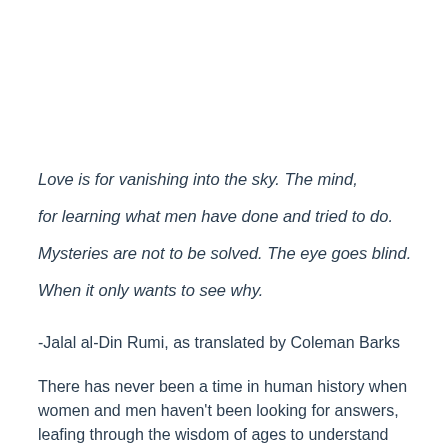Love is for vanishing into the sky. The mind,

for learning what men have done and tried to do.

Mysteries are not to be solved. The eye goes blind.

When it only wants to see why.
-Jalal al-Din Rumi, as translated by Coleman Barks
There has never been a time in human history when women and men haven't been looking for answers, leafing through the wisdom of ages to understand where they have been and